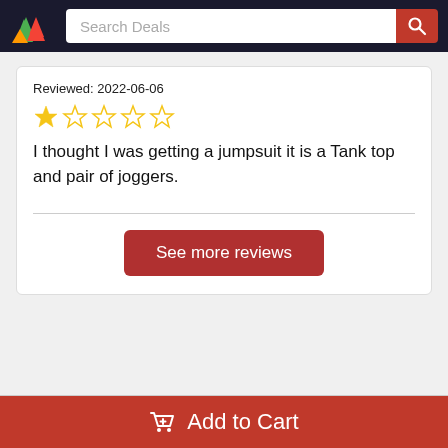Search Deals
Reviewed: 2022-06-06
[Figure (other): 1 out of 5 stars rating — one filled gold star, four empty stars]
I thought I was getting a jumpsuit it is a Tank top and pair of joggers.
See more reviews
Add to Cart